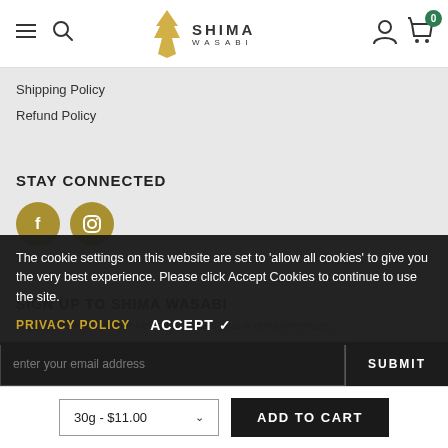Shima Wasabi — navigation bar with hamburger, search, logo, user icon, cart (0)
Shipping Policy
Refund Policy
STAY CONNECTED
[Figure (other): Two gold circular social media icons: Facebook (f) and Instagram (camera)]
SIGN UP TO SHIMA WASABI
Sign up now to receive news and offers plus a complimentary...
The cookie settings on this website are set to 'allow all cookies' to give you the very best experience. Please click Accept Cookies to continue to use the site.
PRIVACY POLICY   ACCEPT ✓
enter your email address
SUBMIT
30g - $11.00   ADD TO CART